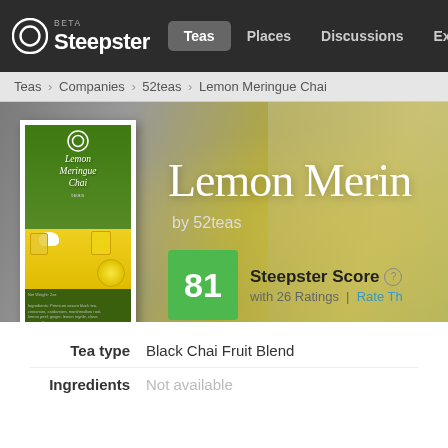Steepster BETA | Teas | Places | Discussions | Explore
Teas › Companies › 52teas › Lemon Meringue Chai
[Figure (screenshot): Hero banner with product image card (Lemon Meringue Chai by 52teas), product title overlay, Steepster Score 81 with 26 Ratings]
Lemon Merin
by 52teas
81 Steepster Score with 26 Ratings | Rate Th
Tea type   Black Chai Fruit Blend
Ingredients   Not available